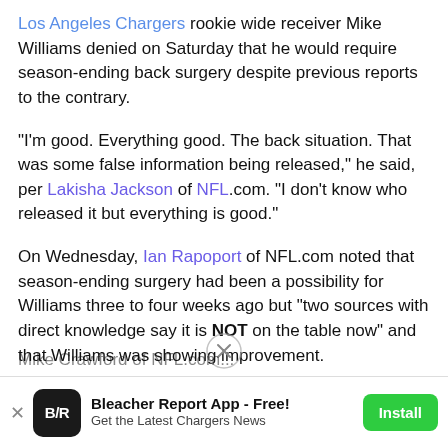Los Angeles Chargers rookie wide receiver Mike Williams denied on Saturday that he would require season-ending back surgery despite previous reports to the contrary.
"I'm good. Everything good. The back situation. That was some false information being released," he said, per Lakisha Jackson of NFL.com. "I don't know who released it but everything is good."
On Wednesday, Ian Rapoport of NFL.com noted that season-ending surgery had been a possibility for Williams three to four weeks ago but "two sources with direct knowledge say it is NOT on the table now" and that Williams was showing improvement.
[Figure (other): Close/dismiss circle button overlay with X symbol]
Mike Crawford of NFL.com...
Bleacher Report App - Free! Get the Latest Chargers News  [Install]